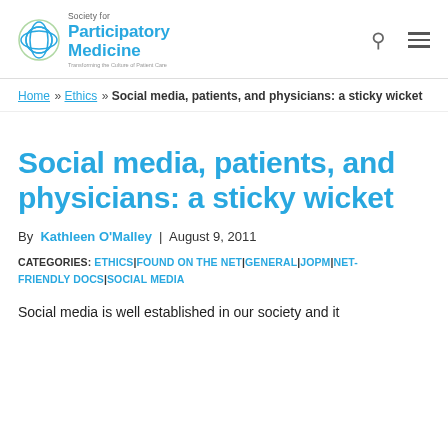Society for Participatory Medicine — logo and navigation
Home » Ethics » Social media, patients, and physicians: a sticky wicket
Social media, patients, and physicians: a sticky wicket
By Kathleen O'Malley | August 9, 2011
CATEGORIES: ETHICS|FOUND ON THE NET|GENERAL|JOPM|NET-FRIENDLY DOCS|SOCIAL MEDIA
Social media is well established in our society and it